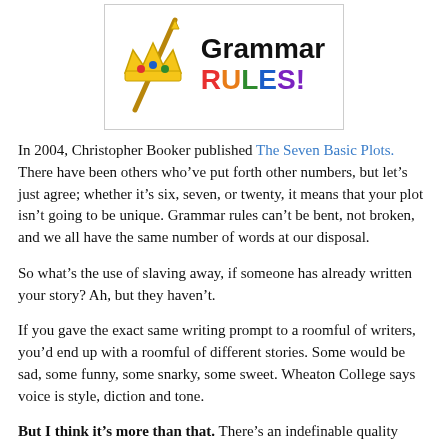[Figure (logo): Grammar RULES! logo with illustrated crown and scepter. 'Grammar' in bold black text and 'RULES!' in multicolored bold letters (R=red, U=orange, L=green, E=blue, S=purple, !=purple), inside a box with a thin border.]
In 2004, Christopher Booker published The Seven Basic Plots. There have been others who’ve put forth other numbers, but let’s just agree; whether it’s six, seven, or twenty, it means that your plot isn’t going to be unique. Grammar rules can’t be bent, not broken, and we all have the same number of words at our disposal.
So what’s the use of slaving away, if someone has already written your story? Ah, but they haven’t.
If you gave the exact same writing prompt to a roomful of writers, you’d end up with a roomful of different stories. Some would be sad, some funny, some snarky, some sweet. Wheaton College says voice is style, diction and tone.
But I think it’s more than that. There’s an indefinable quality